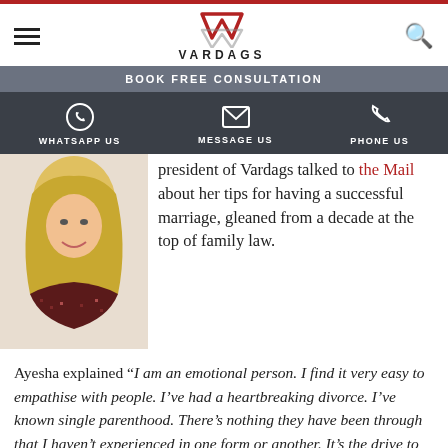VARDAGS
BOOK FREE CONSULTATION
WHATSAPP US   MESSAGE US   PHONE US
[Figure (photo): Photo of a blonde woman smiling, wearing a dark patterned jacket]
president of Vardags talked to the Mail about her tips for having a successful marriage, gleaned from a decade at the top of family law.
Ayesha explained “I am an emotional person. I find it very easy to empathise with people. I’ve had a heartbreaking divorce. I’ve known single parenthood. There’s nothing they have been through that I haven’t experienced in one form or another. It’s the drive to